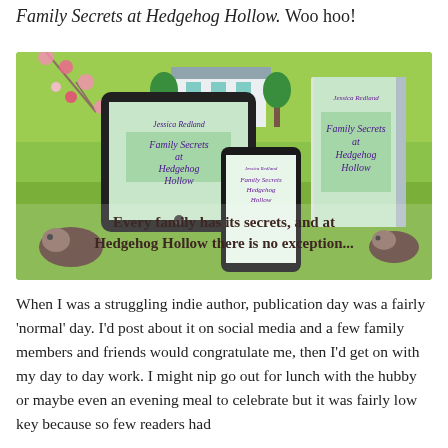Family Secrets at Hedgehog Hollow. Woo hoo!
[Figure (photo): Promotional image for 'Family Secrets at Hedgehog Hollow' by Jessica Redland showing book covers on a tablet, smartphone and physical book against a bright green background with hedgehogs and flowers, with tagline 'Every family has its secrets, and at Hedgehog Hollow there is no exception...']
When I was a struggling indie author, publication day was a fairly 'normal' day. I'd post about it on social media and a few family members and friends would congratulate me, then I'd get on with my day to day work. I might nip go out for lunch with the hubby or maybe even an evening meal to celebrate but it was fairly low key because so few readers had